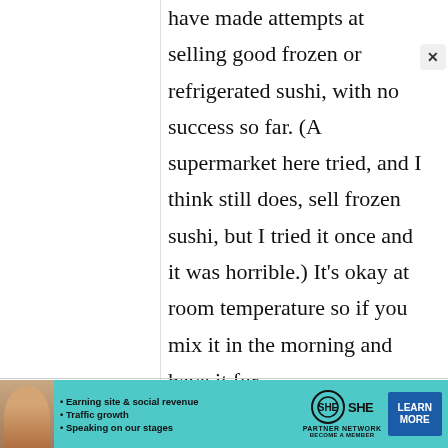have made attempts at selling good frozen or refrigerated sushi, with no success so far. (A supermarket here tried, and I think still does, sell frozen sushi, but I tried it once and it was horrible.) It's okay at room temperature so if you mix it in the morning and have it for
[Figure (other): Advertisement banner for SHE Partner Network featuring a woman's photo, bullet points about earning site & social revenue, traffic growth, speaking on our stages, the SHE logo, and a Learn More button in teal/blue color scheme.]